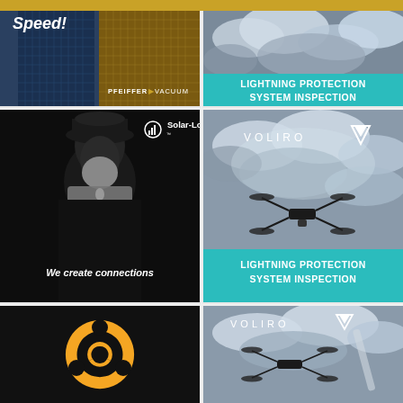[Figure (advertisement): Pfeiffer Vacuum advertisement showing building with text 'Speed!' and logo]
[Figure (advertisement): Lightning Protection System Inspection ad with cloudy sky background, teal banner]
[Figure (advertisement): Solar-Log advertisement with man holding optical device, tagline 'We create connections']
[Figure (advertisement): Voliro drone advertisement with cloudy sky background and Lightning Protection System Inspection teal banner]
[Figure (logo): Orange circular logo on dark background]
[Figure (advertisement): Voliro drone advertisement with cloudy sky background and Voliro logo]